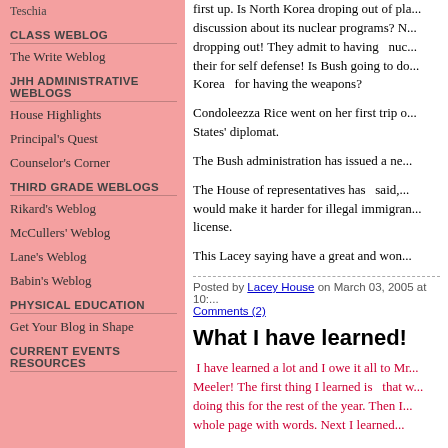Teschia
CLASS WEBLOG
The Write Weblog
JHH ADMINISTRATIVE WEBLOGS
House Highlights
Principal's Quest
Counselor's Corner
THIRD GRADE WEBLOGS
Rikard's Weblog
McCullers' Weblog
Lane's Weblog
Babin's Weblog
PHYSICAL EDUCATION
Get Your Blog in Shape
CURRENT EVENTS RESOURCES
first up. Is North Korea droping out of pla... discussion about its nuclear programs? N... dropping out! They admit to having  nuc... their for self defense! Is Bush going to do... Korea  for having the weapons?
Condoleezza Rice went on her first trip o... States' diplomat.
The Bush administration has issued a ne...
The House of representatives has  said,... would make it harder for illegal immigran... license.
This Lacey saying have a great and won...
Posted by Lacey House on March 03, 2005 at 10:... Comments (2)
What I have learned!
I have learned a lot and I owe it all to Mr... Meeler! The first thing I learned is  that w... doing this for the rest of the year. Then I... whole page with words. Next I learned...